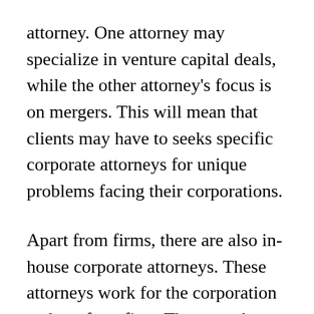attorney. One attorney may specialize in venture capital deals, while the other attorney's focus is on mergers. This will mean that clients may have to seeks specific corporate attorneys for unique problems facing their corporations.
Apart from firms, there are also in-house corporate attorneys. These attorneys work for the corporation and not for a firm. That way the corporation is allowed to send any issues that pose a potential risk to their own in-